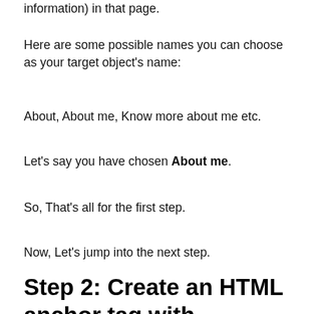information) in that page.
Here are some possible names you can choose as your target object's name:
About, About me, Know more about me etc.
Let's say you have chosen About me.
So, That's all for the first step.
Now, Let's jump into the next step.
Step 2: Create an HTML anchor tag with assigning the name